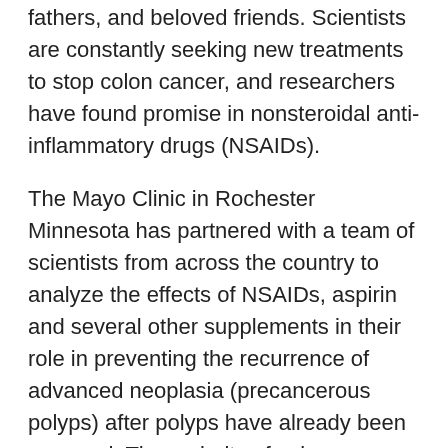fathers, and beloved friends. Scientists are constantly seeking new treatments to stop colon cancer, and researchers have found promise in nonsteroidal anti-inflammatory drugs (NSAIDs).
The Mayo Clinic in Rochester Minnesota has partnered with a team of scientists from across the country to analyze the effects of NSAIDs, aspirin and several other supplements in their role in preventing the recurrence of advanced neoplasia (precancerous polyps) after polyps have already been removed. The majority of colon cancer mortality arises from advanced neoplasia, so this research has enormous implications.
M. Hassan Murad, M.D., a clinical